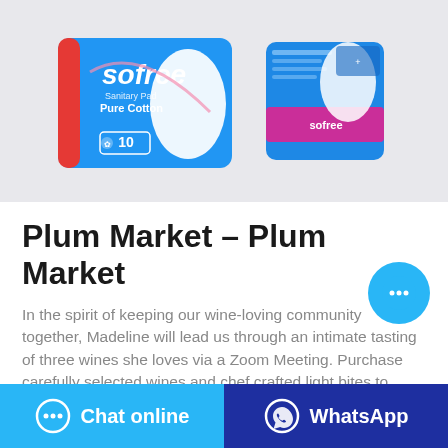[Figure (photo): Product images of Sofree Sanitary Pad Pure Cotton pack (front and side view), blue packaging with white and pink accents, showing 10 pads count]
Plum Market – Plum Market
In the spirit of keeping our wine-loving community together, Madeline will lead us through an intimate tasting of three wines she loves via a Zoom Meeting. Purchase carefully selected wines and chef crafted light bites to taste alongside Madeline, all available to order online for local pickup. View Event Listings. Virtual Tasting Newsletter.
Chat online
WhatsApp